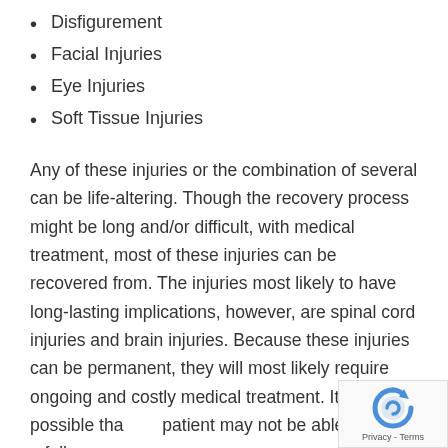Disfigurement
Facial Injuries
Eye Injuries
Soft Tissue Injuries
Any of these injuries or the combination of several can be life-altering. Though the recovery process might be long and/or difficult, with medical treatment, most of these injuries can be recovered from. The injuries most likely to have long-lasting implications, however, are spinal cord injuries and brain injuries. Because these injuries can be permanent, they will most likely require ongoing and costly medical treatment. It is possible that the patient may not be able to make a full recovery